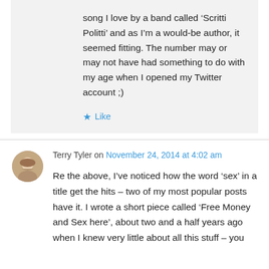song I love by a band called ‘Scritti Politti’ and as I’m a would-be author, it seemed fitting. The number may or may not have had something to do with my age when I opened my Twitter account ;)
★ Like
Terry Tyler on November 24, 2014 at 4:02 am
Re the above, I’ve noticed how the word ‘sex’ in a title get the hits – two of my most popular posts have it. I wrote a short piece called ‘Free Money and Sex here’, about two and a half years ago when I knew very little about all this stuff – you